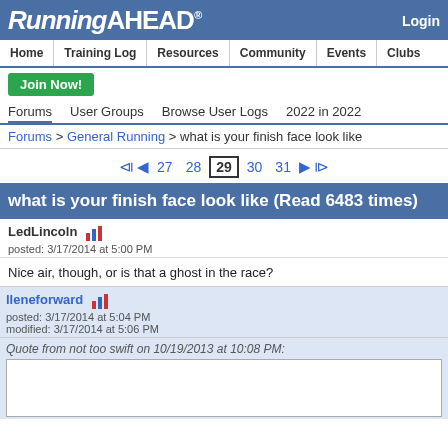RunningAHEAD® Login
Home | Training Log | Resources | Community | Events | Clubs
Join Now!
Forums | User Groups | Browse User Logs | 2022 in 2022
Forums > General Running > what is your finish face look like
27 28 29 30 31
what is your finish face look like (Read 6483 times)
LedLincoln
posted: 3/17/2014 at 5:00 PM
Nice air, though, or is that a ghost in the race?
lleneforward
posted: 3/17/2014 at 5:04 PM
modified: 3/17/2014 at 5:06 PM
Quote from not too swift on 10/19/2013 at 10:08 PM: